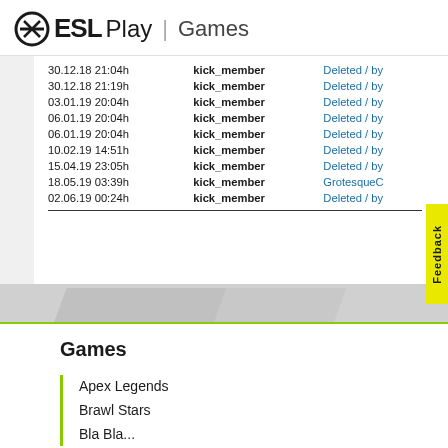ESL Play | Games
| Date/Time | Action | User |
| --- | --- | --- |
| 30.12.18 21:04h | kick_member | Deleted / by... |
| 30.12.18 21:19h | kick_member | Deleted / by... |
| 03.01.19 20:04h | kick_member | Deleted / by... |
| 06.01.19 20:04h | kick_member | Deleted / by... |
| 06.01.19 20:04h | kick_member | Deleted / by... |
| 10.02.19 14:51h | kick_member | Deleted / by... |
| 15.04.19 23:05h | kick_member | Deleted / by... |
| 18.05.19 03:39h | kick_member | GrotesqueC... |
| 02.06.19 00:24h | kick_member | Deleted / by... |
Games
Apex Legends
Brawl Stars
Bla Bla...